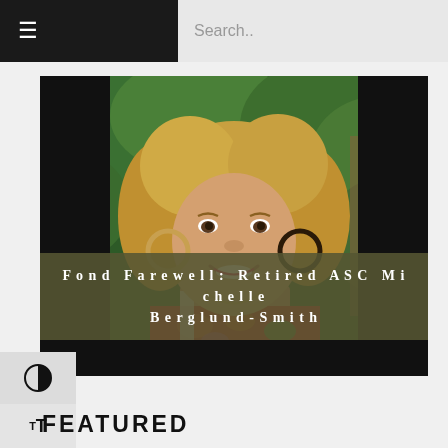☰  Search..
[Figure (photo): Portrait photo of a smiling woman with blonde hair wearing a red floral top and large hoop earrings, outdoors with green foliage background]
Fond Farewell: Retired ASC Michelle Berglund-Smith
FEATURED